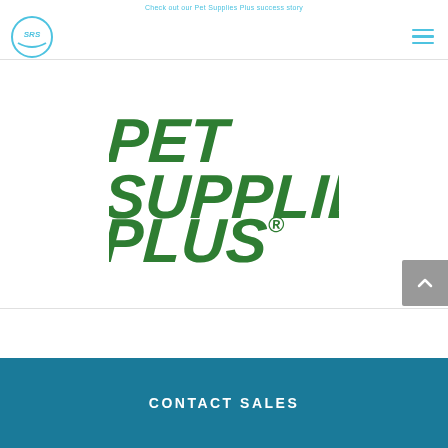Check out our Pet Supplies Plus success story
[Figure (logo): SPS circular logo in teal/cyan color]
[Figure (logo): Pet Supplies Plus logo - green bold italic text reading PET SUPPLIES PLUS with registered trademark, tagline GREAT PRICES. NO BEGGING.]
CONTACT SALES